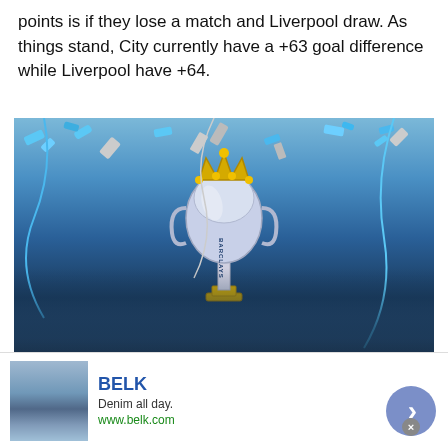points is if they lose a match and Liverpool draw. As things stand, City currently have a +63 goal difference while Liverpool have +64.
[Figure (photo): A footballer holding up the Barclays Premier League trophy amid blue confetti and streamers, celebrating with crowds in the background.]
[Figure (screenshot): Advertisement banner for BELK department store. Shows fashion imagery on the left, BELK brand name in blue, tagline 'Denim all day.' and URL www.belk.com. Has a blue circular arrow button on the right and a close (x) button.]